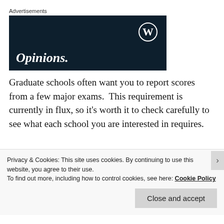Advertisements
[Figure (illustration): Dark navy advertisement banner with WordPress logo (circle W) in top right and text 'Opinions.' in white italic font at bottom left]
Graduate schools often want you to report scores from a few major exams. This requirement is currently in flux, so it's worth it to check carefully to see what each school you are interested in requires.
Privacy & Cookies: This site uses cookies. By continuing to use this website, you agree to their use.
To find out more, including how to control cookies, see here: Cookie Policy
Close and accept